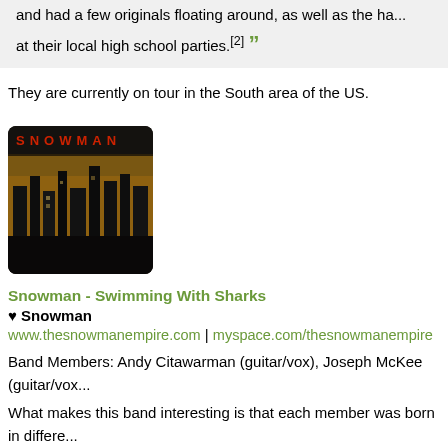and had a few originals floating around, as well as the ha... at their local high school parties.[2]
They are currently on tour in the South area of the US.
[Figure (photo): Album art for Snowman - Swimming With Sharks, showing a dark cityscape image with the word SNOWMAN in red at the top]
Snowman - Swimming With Sharks
♥ Snowman
www.thesnowmanempire.com | myspace.com/thesnowmanempire
Band Members: Andy Citawarman (guitar/vox), Joseph McKee (guitar/vox...
What makes this band interesting is that each member was born in differe...
They're currently on tour in September and October. Unfortunately, they're...
| vu | my♥posts | vu@weheartmusic.com | www.thepandaband.com |
| --- | --- | --- | --- |